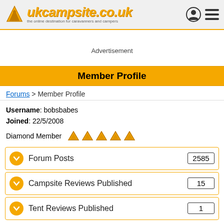[Figure (logo): ukcampsite.co.uk logo with tent/camping icon and tagline 'the online destination for caravanners and campers']
Advertisement
Member Profile
Forums > Member Profile
Username: bobsbabes
Joined: 22/5/2008
Diamond Member (5 tent icons)
Forum Posts 2585
Campsite Reviews Published 15
Tent Reviews Published 1